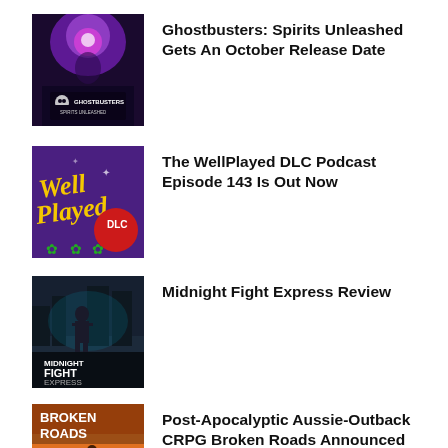[Figure (photo): Ghostbusters: Spirits Unleashed game cover art - dark purple cosmic background with ghost figure]
Ghostbusters: Spirits Unleashed Gets An October Release Date
[Figure (photo): WellPlayed DLC Podcast logo - purple background with yellow stylized text and green clovers]
The WellPlayed DLC Podcast Episode 143 Is Out Now
[Figure (photo): Midnight Fight Express game cover - dark urban scene with character, text overlay]
Midnight Fight Express Review
[Figure (photo): Broken Roads game cover - post-apocalyptic Australian outback scene with characters]
Post-Apocalyptic Aussie-Outback CRPG Broken Roads Announced For PS5 And PS4